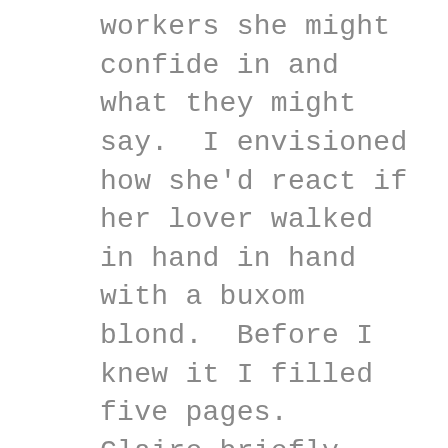workers she might confide in and what they might say.  I envisioned how she'd react if her lover walked in hand in hand with a buxom blond.  Before I knew it I filled five pages.  Claire briefly critiqued our five-page story set-ups during the webinar and discussed conflicts, tension, and climax. After the half-hour webinar, Claire assigned us each a writing partner. Mary from Tennessee and I will exchange our beginning five pages and then write the endings to each other's stories. I hope I can do justice to Mary's story set-up.
Next week we'll e-mail the ten pages to Claire and receive a critique during the next webinar. The Webinar technology impresses me. The log-in process was easy. The voice quality was